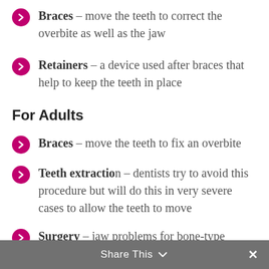Braces – move the teeth to correct the overbite as well as the jaw
Retainers – a device used after braces that help to keep the teeth in place
For Adults
Braces – move the teeth to fix an overbite
Teeth extraction – dentists try to avoid this procedure but will do this in very severe cases to allow the teeth to move
Surgery – jaw problems for bone-type overbites can only be corrected with surgery for adults
Share This